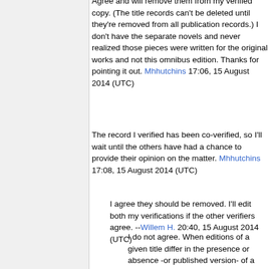Agree and will remove them from my verified copy. (The title records can't be deleted until they're removed from all publication records.) I don't have the separate novels and never realized those pieces were written for the original works and not this omnibus edition. Thanks for pointing it out. Mhhutchins 17:06, 15 August 2014 (UTC)
The record I verified has been co-verified, so I'll wait until the others have had a chance to provide their opinion on the matter. Mhhutchins 17:08, 15 August 2014 (UTC)
I agree they should be removed. I'll edit both my verifications if the other verifiers agree. --Willem H. 20:40, 15 August 2014 (UTC)
I do not agree. When editions of a given title differ in the presence or absence -or published version- of a prologue and/or epilogue, it is very handy to note whether one